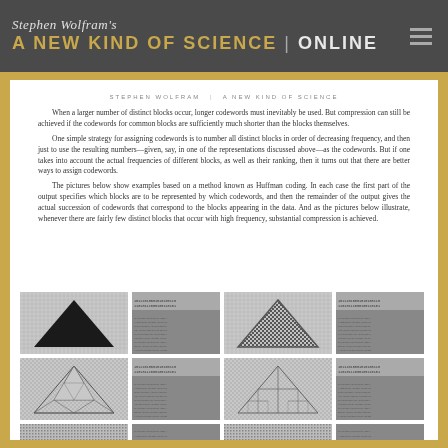Stephen Wolfram's A NEW KIND OF SCIENCE | ONLINE
STEPHEN WOLFRAM | A NEW KIND OF SCIENCE
When a larger number of distinct blocks occur, longer codewords must inevitably be used. But compression can still be achieved if the codewords for common blocks are sufficiently much shorter than the blocks themselves.
One simple strategy for assigning codewords is to number all distinct blocks in order of decreasing frequency, and then just to use the resulting numbers—given, say, in one of the representations discussed above—as the codewords. But if one takes into account the actual frequencies of different blocks, as well as their ranking, then it turns out that there are better ways to assign codewords.
The pictures below show examples based on a method known as Huffman coding. In each case the first part of the output specifies which blocks are to be represented by which codewords, and then the remainder of the output gives the actual succession of codewords that correspond to the blocks appearing in the data. And as the pictures below illustrate, whenever there are fairly few distinct blocks that occur with high frequency, substantial compression is achieved.
[Figure (illustration): Six pairs of images showing Huffman coding examples. Each pair shows a source image (triangle pattern with varying complexity) on the left and its compressed codeword representation on the right. Top row: solid black triangle with grid background, then a finer triangle pattern. Middle row: fractal-like triangle pattern, then a more complex symmetric pattern. Bottom row (partial): more complex pattern images.]